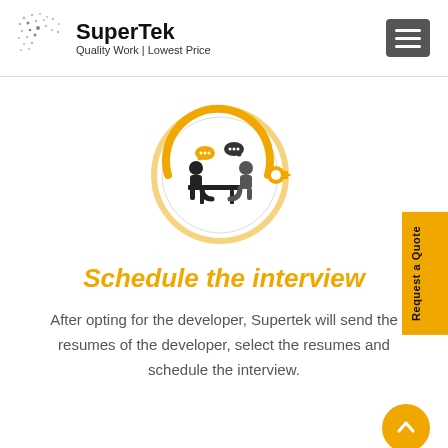SuperTek — Quality Work | Lowest Price
[Figure (illustration): Interview icon: two people sitting at a table having a conversation with speech bubbles, inside a circular yellow and white badge with a key-like arrow pointing right. Rendered in yellow/gold and dark/black colors.]
Schedule the interview
After opting for the developer, Supertek will send the resumes of the developer, select the resumes and schedule the interview.